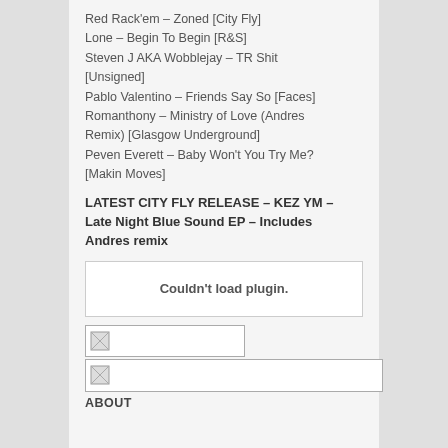Red Rack'em – Zoned [City Fly]
Lone – Begin To Begin [R&S]
Steven J AKA Wobblejay – TR Shit [Unsigned]
Pablo Valentino – Friends Say So [Faces]
Romanthony – Ministry of Love (Andres Remix) [Glasgow Underground]
Peven Everett – Baby Won't You Try Me? [Makin Moves]
LATEST CITY FLY RELEASE – KEZ YM – Late Night Blue Sound EP – Includes Andres remix
Couldn't load plugin.
[Figure (other): Broken image placeholder, small wide box]
[Figure (other): Broken image placeholder, wider box]
ABOUT